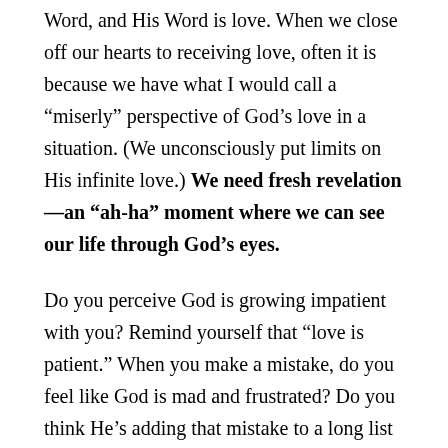Word, and His Word is love. When we close off our hearts to receiving love, often it is because we have what I would call a “miserly” perspective of God’s love in a situation. (We unconsciously put limits on His infinite love.) We need fresh revelation—an “ah-ha” moment where we can see our life through God’s eyes.
Do you perceive God is growing impatient with you? Remind yourself that “love is patient.” When you make a mistake, do you feel like God is mad and frustrated? Do you think He’s adding that mistake to a long list with your name on it? Remind yourself that love “it is not easily angered” and “keeps no record of wrongs.” Remind yourself that God abounds in love and